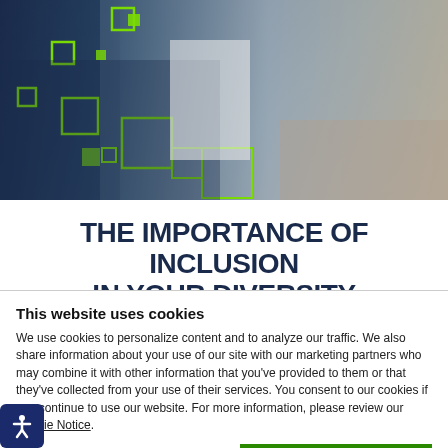[Figure (photo): Hero image of business people working with tablets and laptops at a table, with green tech overlay pattern on the left side]
THE IMPORTANCE OF INCLUSION IN YOUR DIVERSITY PROGRAMME
This website uses cookies
We use cookies to personalize content and to analyze our traffic. We also share information about your use of our site with our marketing partners who may combine it with other information that you've provided to them or that they've collected from your use of their services. You consent to our cookies if you continue to use our website. For more information, please review our Cookie Notice.
OK
Necessary   Preferences   Statistics   Marketing   Show details